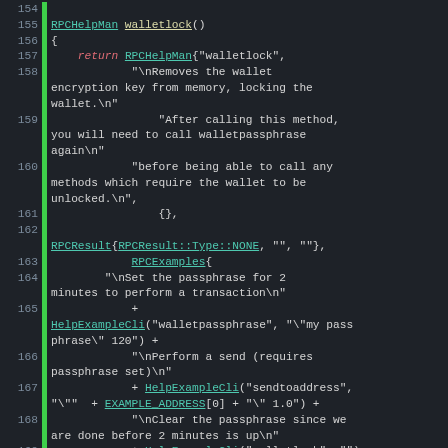[Figure (screenshot): Source code screenshot showing C++ function walletlock() implementation with line numbers 154-173, dark theme code editor. Shows RPCHelpMan walletlock() function with documentation strings and RPC examples.]